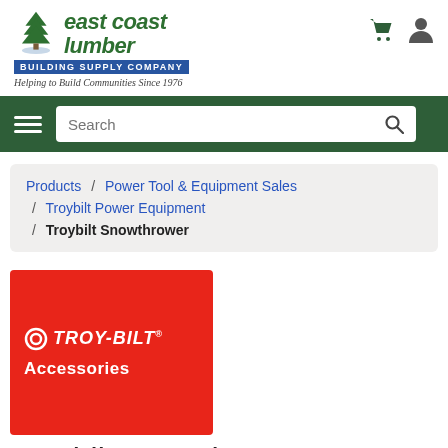[Figure (logo): East Coast Lumber Building Supply Company logo with tree icon, green text, blue banner, and italic tagline 'Helping to Build Communities Since 1976']
[Figure (other): Navigation bar with hamburger menu and search bar on dark green background]
Products / Power Tool & Equipment Sales / Troybilt Power Equipment / Troybilt Snowthrower
[Figure (logo): Troy-Bilt Accessories red logo image]
Troybilt Snowthrower